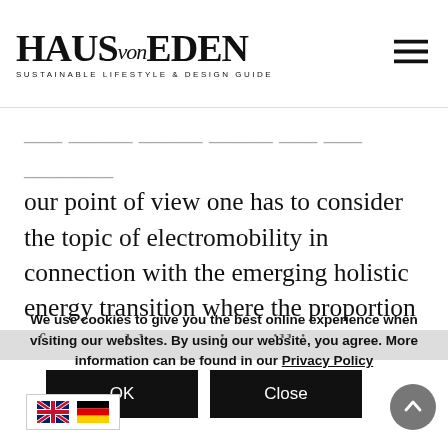HAUS von EDEN — SUSTAINABLE LIFESTYLE & DESIGN GUIDE
our point of view one has to consider the topic of electromobility in connection with the emerging holistic energy transition where the proportion of renewable energies will increase steadily: be it because of the political will now available or because of the ...
We use cookies to give you the best online experience when visiting our websites. By using our website, you agree. More information can be found in our Privacy Policy
OK
Close